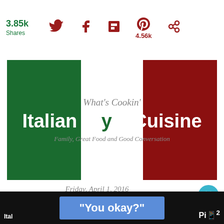3.85k Shares
[Figure (logo): What's Cookin' Italian Style Cuisine - Family, Great Food and Good Conversation logo with green and red blocks]
Friday, April 1, 2016
ITALIAN PIZZA FROM FRIED DOUGH
WHAT'S NEXT → Italian Broccoli Ra...
"You okay?"